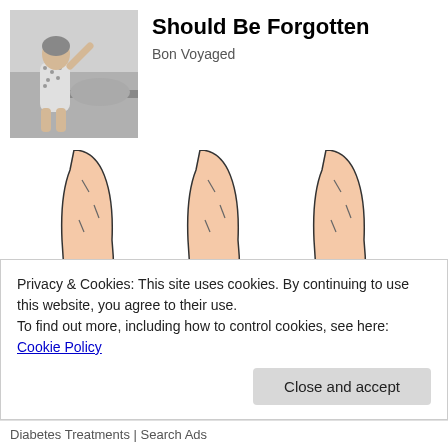[Figure (photo): Black and white vintage photo of a woman in a floral dress, appearing to be doing laundry or household chores]
Should Be Forgotten
Bon Voyaged
[Figure (illustration): Three medical illustrations of legs/knees showing pain points: left leg with large red pain area near knee, middle leg with mild pink pain area near knee, right leg with concentrated red pain area at the back of the knee]
Privacy & Cookies: This site uses cookies. By continuing to use this website, you agree to their use.
To find out more, including how to control cookies, see here: Cookie Policy
Close and accept
Diabetes Treatments | Search Ads